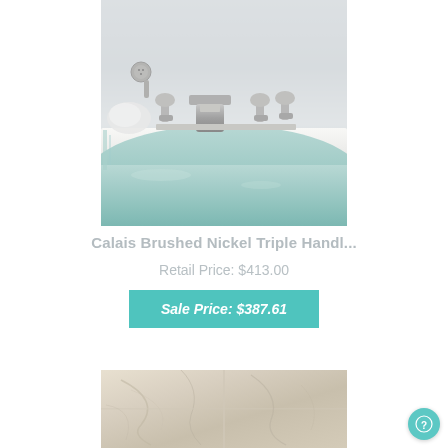[Figure (photo): Brushed nickel triple handle bathtub faucet set with hand shower, mounted on a white bathtub filled with light blue/green water. White towels visible in background.]
Calais Brushed Nickel Triple Handl...
Retail Price: $413.00
Sale Price: $387.61
[Figure (photo): Marble tile surface with light beige/cream tones and natural veining patterns.]